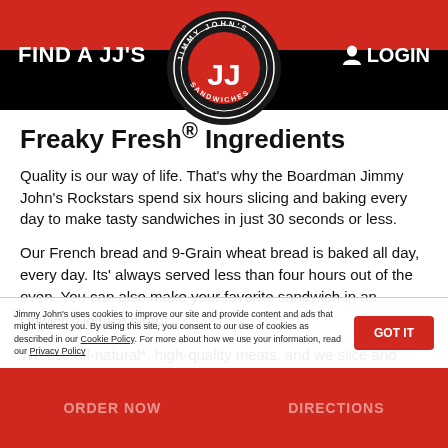FIND A JJ'S    LOGIN
[Figure (logo): Jimmy John's Sandwiches circular logo with red JJ letters on black background with stars]
Freaky Fresh® Ingredients
Quality is our way of life. That's why the Boardman Jimmy John's Rockstars spend six hours slicing and baking every day to make tasty sandwiches in just 30 seconds or less.
Our French bread and 9-Grain wheat bread is baked all day, every day. Its' always served less than four hours out of the oven. You can also make your favorite sandwich in an Unwich® lettuce wrap!
We use all-natural*, high-quality meats, and we slice and weight each portion to perfection daily. Our veggies are locally purchased, delivered fresh to Boardman Jimmy
Jimmy John's uses cookies to improve our site and provide content and ads that might interest you. By using this site, you consent to our use of cookies as described in our Cookie Policy. For more about how we use your information, read our Privacy Policy
ORDER NOW    DIRECTIONS